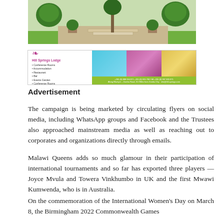[Figure (photo): Outdoor garden/entrance area with green bushes, paved pathway and steps]
[Figure (photo): Advertisement banner for Hill Springs Lodge showing conference rooms, accommodation, restaurant, bar, events garden and conference rooms with phone numbers and location details along Blantyre-Zomba Road]
Advertisement
The campaign is being marketed by circulating flyers on social media, including WhatsApp groups and Facebook and the Trustees also approached mainstream media as well as reaching out to corporates and organizations directly through emails.
Malawi Queens adds so much glamour in their participation of international tournaments and so far has exported three players — Joyce Mvula and Towera Vinkhumbo in UK and the first Mwawi Kumwenda, who is in Australia.
On the commemoration of the International Women's Day on March 8, the Birmingham 2022 Commonwealth Games